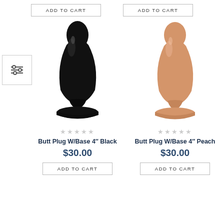[Figure (other): Two 'ADD TO CART' buttons at the top of the page, one for each product column]
[Figure (photo): Black butt plug product photo on white background]
[Figure (photo): Peach butt plug product photo on white background]
★★★★★ (empty stars)
Butt Plug W/Base 4" Black
$30.00
ADD TO CART
★★★★★ (empty stars)
Butt Plug W/Base 4" Peach
$30.00
ADD TO CART